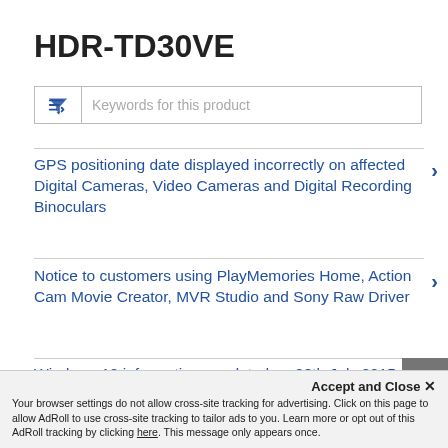HDR-TD30VE
Keywords for this product
GPS positioning date displayed incorrectly on affected Digital Cameras, Video Cameras and Digital Recording Binoculars
Notice to customers using PlayMemories Home, Action Cam Movie Creator, MVR Studio and Sony Raw Driver
Windows 10 information - updated on 28th July 2015
Accept and Close ✕
Your browser settings do not allow cross-site tracking for advertising. Click on this page to allow AdRoll to use cross-site tracking to tailor ads to you. Learn more or opt out of this AdRoll tracking by clicking here. This message only appears once.